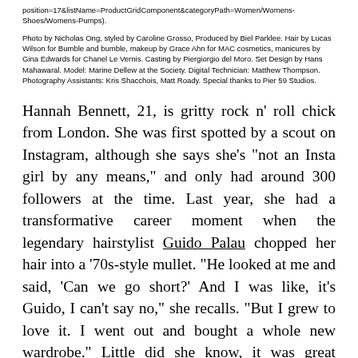position=17&listName=ProductGridComponent&categoryPath=Women/Womens-Shoes/Womens-Pumps).
Photo by Nicholas Ong, styled by Caroline Grosso, Produced by Biel Parklee. Hair by Lucas Wilson for Bumble and bumble, makeup by Grace Ahn for MAC cosmetics, manicures by Gina Edwards for Chanel Le Vernis. Casting by Piergiorgio del Moro. Set Design by Hans Mahawaral. Model: Marine Dellew at the Society. Digital Technician: Matthew Thompson. Photography Assistants: Kris Shacchois, Matt Roady. Special thanks to Pier 59 Studios.
Hannah Bennett, 21, is gritty rock n' roll chick from London. She was first spotted by a scout on Instagram, although she says she's "not an Insta girl by any means," and only had around 300 followers at the time. Last year, she had a transformative career moment when the legendary hairstylist Guido Palau chopped her hair into a '70s-style mullet. "He looked at me and said, 'Can we go short?' And I was like, it's Guido, I can't say no," she recalls. "But I grew to love it. I went out and bought a whole new wardrobe." Little did she know, it was great practice for when Alexander Wang then asked her to bleach her eyebrows for spring 2017. This season, she's